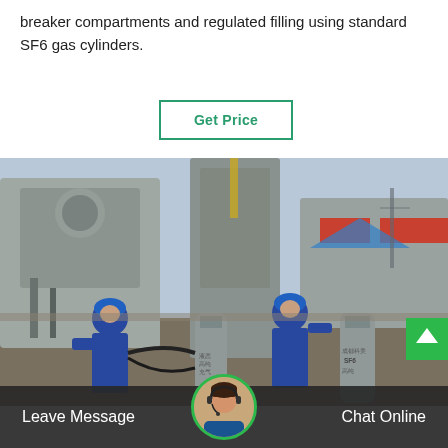breaker compartments and regulated filling using standard SF6 gas cylinders.
[Figure (other): Button labeled 'Get Price' with green border and text on white background]
[Figure (photo): Two workers in blue coveralls and blue hard hats filling SF6 gas from gray cylinders into large gray industrial circuit breaker equipment at an outdoor electrical substation. Chinese text visible on gas cylinders. Industrial equipment with orange stripe visible on right side.]
Leave Message   Chat Online